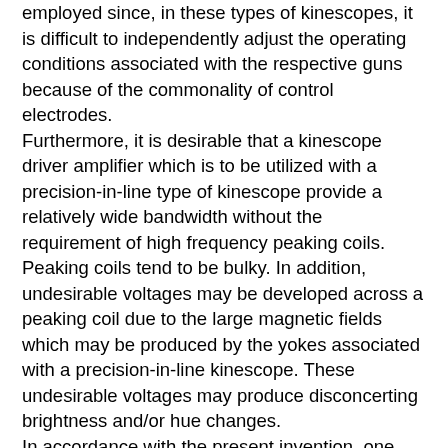employed since, in these types of kinescopes, it is difficult to independently adjust the operating conditions associated with the respective guns because of the commonality of control electrodes. Furthermore, it is desirable that a kinescope driver amplifier which is to be utilized with a precision-in-line type of kinescope provide a relatively wide bandwidth without the requirement of high frequency peaking coils. Peaking coils tend to be bulky. In addition, undesirable voltages may be developed across a peaking coil due to the large magnetic fields which may be produced by the yokes associated with a precision-in-line kinescope. These undesirable voltages may produce disconcerting brightness and/or hue changes. In accordance with the present invention, one input terminal of amplifying means is coupled to a source of chrominance signals through capacitive means. A second input of the amplifying means is direct current coupled to a source of luminance signals. The output terminal of the amplifying means is direct current coupled to a color image reproducing device such as a precision-in-line kinescope of the like. The amplifying means includes means for combining the luminance and chrominance signals to provide the image reproducing device with the signals. The amplifying